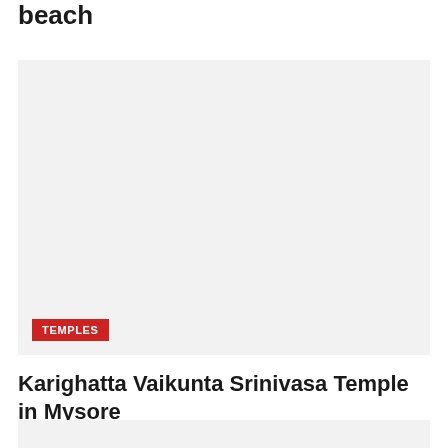beach
[Figure (photo): Large light grey placeholder image area with a TEMPLES category badge in the lower-left corner]
TEMPLES
Karighatta Vaikunta Srinivasa Temple in Mysore
[Figure (photo): Light grey placeholder image area, partially visible at the bottom of the page]